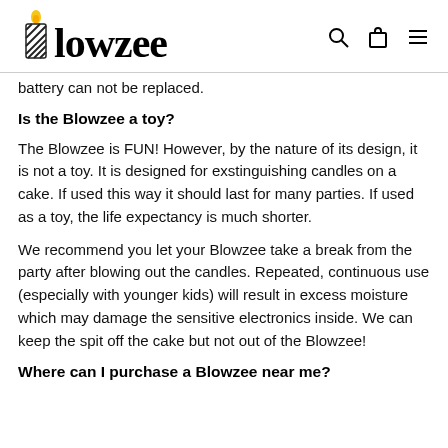Blowzee
battery can not be replaced.
Is the Blowzee a toy?
The Blowzee is FUN! However, by the nature of its design, it is not a toy. It is designed for exstinguishing candles on a cake. If used this way it should last for many parties. If used as a toy, the life expectancy is much shorter.
We recommend you let your Blowzee take a break from the party after blowing out the candles. Repeated, continuous use (especially with younger kids) will result in excess moisture which may damage the sensitive electronics inside. We can keep the spit off the cake but not out of the Blowzee!
Where can I purchase a Blowzee near me?